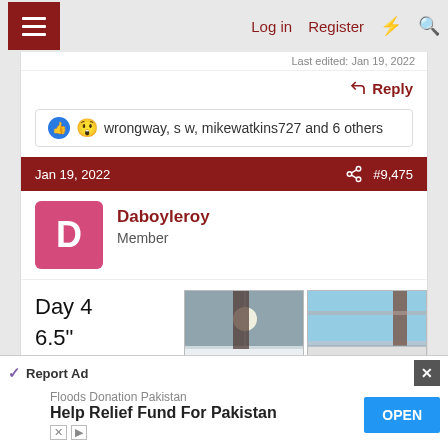Log in  Register
Last edited: Jan 19, 2022
Reply
wrongway, s w, mikewatkins727 and 6 others
Jan 19, 2022  #9,475
Daboyleroy
Member
Day 4
6.5"
getting old…….like me
[Figure (photo): Snow scene outdoor photo]
[Figure (photo): Snow scene with pergola/patio]
[Figure (photo): Snow scene partial bottom image]
Report Ad
Floods Donation Pakistan
Help Relief Fund For Pakistan
OPEN